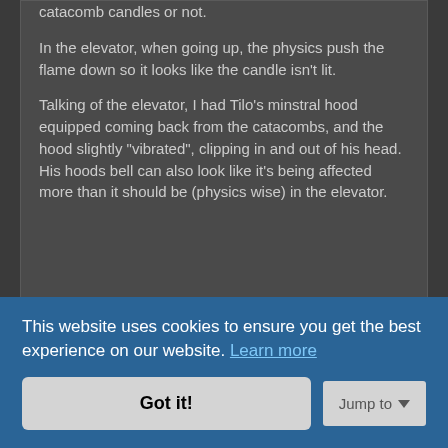catacomb candles or not.
In the elevator, when going up, the physics push the flame down so it looks like the candle isn't lit.
Talking of the elevator, I had Tilo's minstral hood equipped coming back from the catacombs, and the hood slightly "vibrated", clipping in and out of his head. His hoods bell can also look like it's being affected more than it should be (physics wise) in the elevator.
Post Reply
1 post • Page 1 of 1
This website uses cookies to ensure you get the best experience on our website. Learn more
Got it!
Jump to